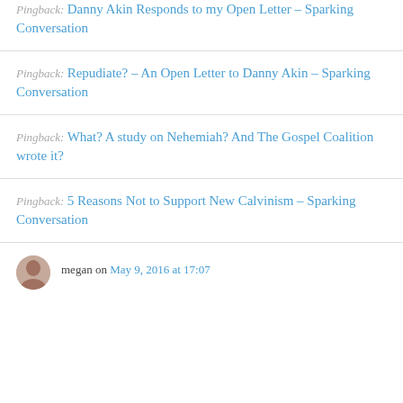Pingback: Danny Akin Responds to my Open Letter – Sparking Conversation
Pingback: Repudiate? – An Open Letter to Danny Akin – Sparking Conversation
Pingback: What? A study on Nehemiah? And The Gospel Coalition wrote it?
Pingback: 5 Reasons Not to Support New Calvinism – Sparking Conversation
megan on May 9, 2016 at 17:07